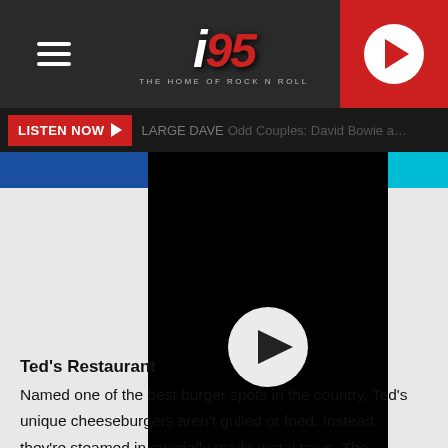i95 The Home of Rock and Roll
LISTEN NOW  Odd Couples: David Bowie and J...
[Figure (screenshot): Black video player with white circular play button in center]
Ted's Restaurant
Named one of the best burger spots in the country, Ted's unique cheeseburgers aren't grilled or fried. Instead, they're steamed in specially made metal trays. The steamed cheeseburgers are like none other. Blocks of cheddar are melted separately and then drizzled on the burger after it's done. The sandwich just melts in your mouth and pairs